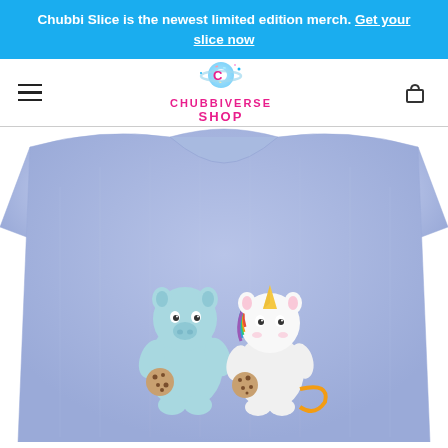Chubbi Slice is the newest limited edition merch. Get your slice now
[Figure (logo): Chubbiverse Shop logo with pink text and donut-planet icon]
[Figure (photo): Light blue/lavender heather toddler t-shirt with kawaii pig and unicorn characters sharing cookies printed on the front]